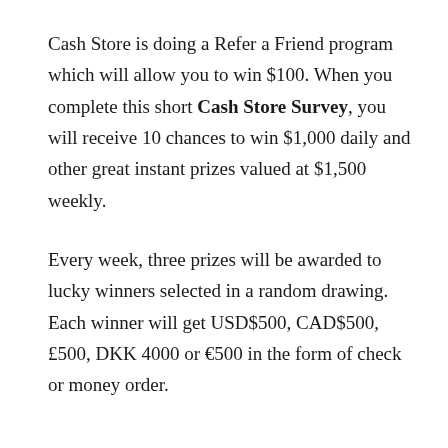Cash Store is doing a Refer a Friend program which will allow you to win $100. When you complete this short Cash Store Survey, you will receive 10 chances to win $1,000 daily and other great instant prizes valued at $1,500 weekly.
Every week, three prizes will be awarded to lucky winners selected in a random drawing. Each winner will get USD$500, CAD$500, £500, DKK 4000 or €500 in the form of check or money order.